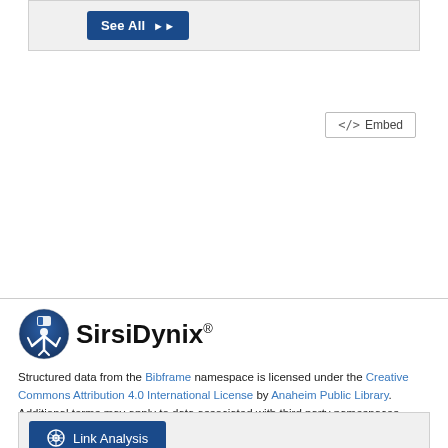[Figure (screenshot): Top gray box with a 'See All >>' dark blue button]
[Figure (screenshot): Embed button with '</>' code icon on the right side]
[Figure (logo): SirsiDynix logo: circular dark blue icon with figures and text 'SirsiDynix®']
Structured data from the Bibframe namespace is licensed under the Creative Commons Attribution 4.0 International License by Anaheim Public Library. Additional terms may apply to data associated with third party namespaces.
[Figure (screenshot): Gray box with dark blue 'Link Analysis' button with globe icon]